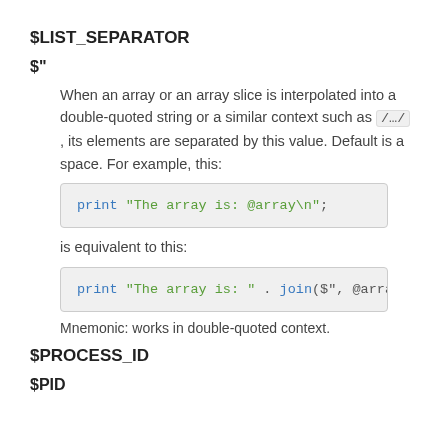$LIST_SEPARATOR
$"
When an array or an array slice is interpolated into a double-quoted string or a similar context such as /.../  , its elements are separated by this value. Default is a space. For example, this:
print "The array is: @array\n";
is equivalent to this:
print "The array is: " . join($", @array)
Mnemonic: works in double-quoted context.
$PROCESS_ID
$PID